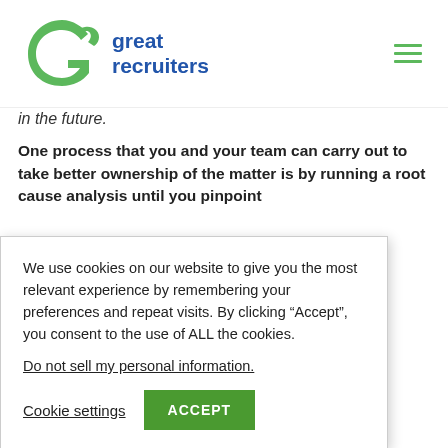[Figure (logo): Great Recruiters logo with green 'gr' circular icon and blue text 'great recruiters']
in the future.
One process that you and your team can carry out to take better ownership of the matter is by running a root cause analysis until you pinpoint [t need] [lay in] [' If it's an] [ruiter, do a] [entify if] [iter's]
We use cookies on our website to give you the most relevant experience by remembering your preferences and repeat visits. By clicking “Accept”, you consent to the use of ALL the cookies.
Do not sell my personal information.
Cookie settings
ACCEPT
[ortunity for] [nat you]
receive can help empower your team and help